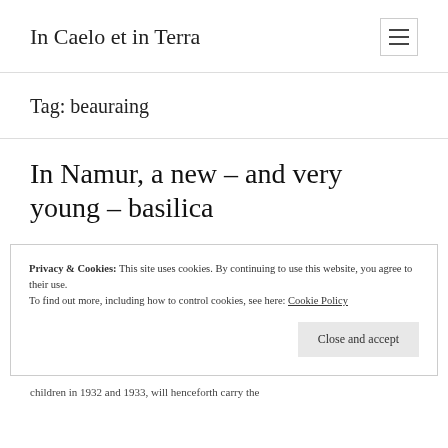In Caelo et in Terra
Tag: beauraing
In Namur, a new – and very young – basilica
Privacy & Cookies: This site uses cookies. By continuing to use this website, you agree to their use.
To find out more, including how to control cookies, see here: Cookie Policy
Close and accept
children in 1932 and 1933, will henceforth carry the